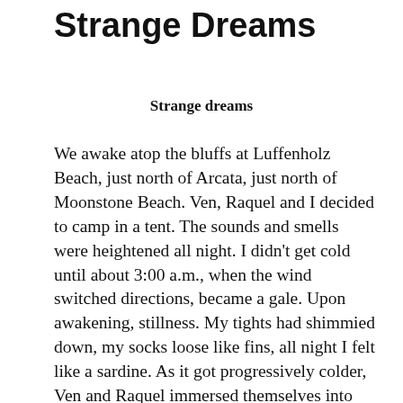Strange Dreams
Strange dreams
We awake atop the bluffs at Luffenholz Beach, just north of Arcata, just north of Moonstone Beach. Ven, Raquel and I decided to camp in a tent. The sounds and smells were heightened all night. I didn't get cold until about 3:00 a.m., when the wind switched directions, became a gale. Upon awakening, stillness. My tights had shimmied down, my socks loose like fins, all night I felt like a sardine. As it got progressively colder, Ven and Raquel immersed themselves into their goose down sleeping bags. I, on the